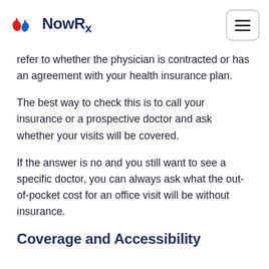NowRx
refer to whether the physician is contracted or has an agreement with your health insurance plan.
The best way to check this is to call your insurance or a prospective doctor and ask whether your visits will be covered.
If the answer is no and you still want to see a specific doctor, you can always ask what the out-of-pocket cost for an office visit will be without insurance.
Coverage and Accessibility